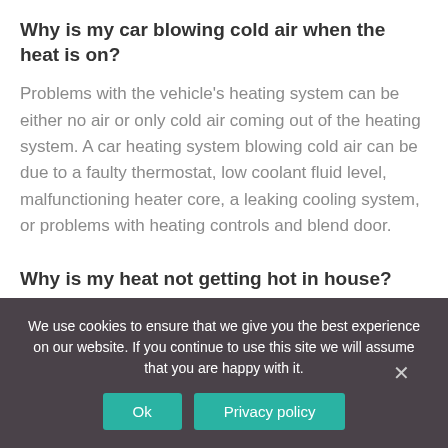Why is my car blowing cold air when the heat is on?
Problems with the vehicle's heating system can be either no air or only cold air coming out of the heating system. A car heating system blowing cold air can be due to a faulty thermostat, low coolant fluid level, malfunctioning heater core, a leaking cooling system, or problems with heating controls and blend door.
Why is my heat not getting hot in house?
Dirty filters are the most common cause of furnace
We use cookies to ensure that we give you the best experience on our website. If you continue to use this site we will assume that you are happy with it.